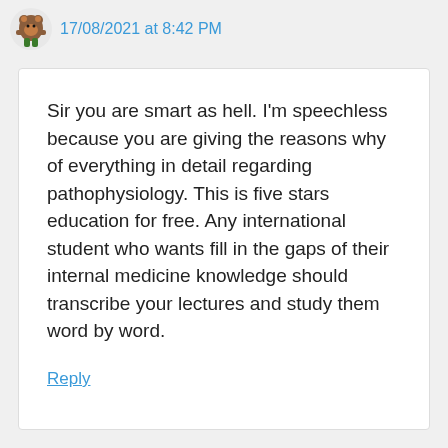17/08/2021 at 8:42 PM
Sir you are smart as hell. I'm speechless because you are giving the reasons why of everything in detail regarding pathophysiology. This is five stars education for free. Any international student who wants fill in the gaps of their internal medicine knowledge should transcribe your lectures and study them word by word.
Reply